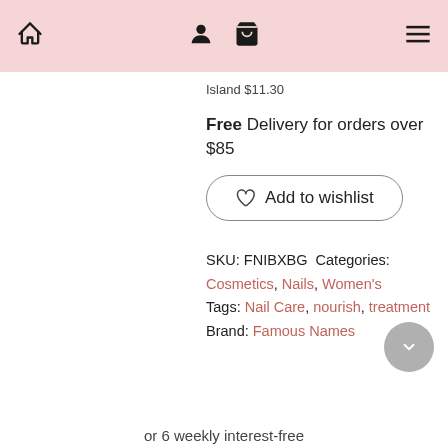Navigation bar with home, user, cart, and menu icons
Island $11.30
Free Delivery for orders over $85
Add to wishlist
SKU: FNIBXBG Categories: Cosmetics, Nails, Women's Tags: Nail Care, nourish, treatment Brand: Famous Names
or 6 weekly interest-free